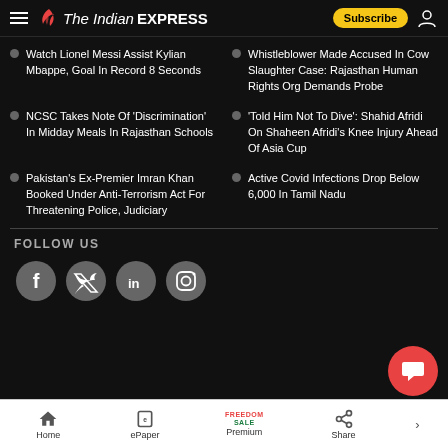The Indian EXPRESS
Watch Lionel Messi Assist Kylian Mbappe, Goal In Record 8 Seconds
Whistleblower Made Accused In Cow Slaughter Case: Rajasthan Human Rights Org Demands Probe
NCSC Takes Note Of 'Discrimination' In Midday Meals In Rajasthan Schools
'Told Him Not To Dive': Shahid Afridi On Shaheen Afridi's Knee Injury Ahead Of Asia Cup
Pakistan's Ex-Premier Imran Khan Booked Under Anti-Terrorism Act For Threatening Police, Judiciary
Active Covid Infections Drop Below 6,000 In Tamil Nadu
FOLLOW US
[Figure (other): Social media icons: Facebook, Twitter, LinkedIn, Instagram]
Home | ePaper | Premium (FREEDOM SALE) | Share | STORY